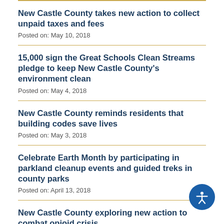New Castle County takes new action to collect unpaid taxes and fees
Posted on: May 10, 2018
15,000 sign the Great Schools Clean Streams pledge to keep New Castle County's environment clean
Posted on: May 4, 2018
New Castle County reminds residents that building codes save lives
Posted on: May 3, 2018
Celebrate Earth Month by participating in parkland cleanup events and guided treks in county parks
Posted on: April 13, 2018
New Castle County exploring new action to combat opioid crisis